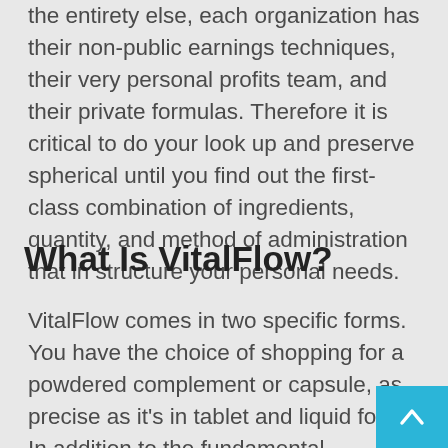the entirety else, each organization has their non-public earnings techniques, their very personal profits team, and their private formulas. Therefore it is critical to do your look up and preserve spherical until you find out the first-class combination of ingredients, quantity, and method of administration that in structure your personal needs.
What Is VitalFlow?
VitalFlow comes in two specific forms. You have the choice of shopping for a powdered complement or capsule, as precise as it's in tablet and liquid forms. In addition to the fundamental ingredient, VitalFX comes with a host of exclusive aspects such as: prostate formulas, herbal extracts, and specific dietary nutritional vitamins and minerals to help eleva